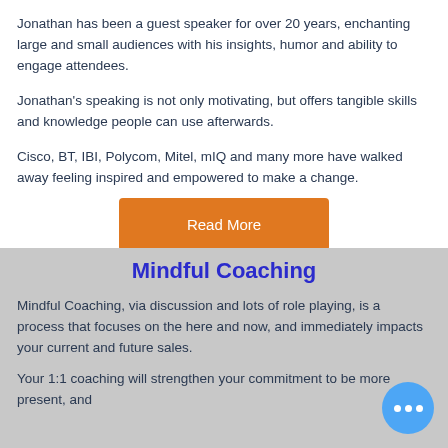Jonathan has been a guest speaker for over 20 years, enchanting large and small audiences with his insights, humor and ability to engage attendees.
Jonathan's speaking is not only motivating, but offers tangible skills and knowledge people can use afterwards.
Cisco, BT, IBI, Polycom, Mitel, mIQ and many more have walked away feeling inspired and empowered to make a change.
Read More
Mindful Coaching
Mindful Coaching, via discussion and lots of role playing, is a process that focuses on the here and now, and immediately impacts your current and future sales.
Your 1:1 coaching will strengthen your commitment to be more present, and